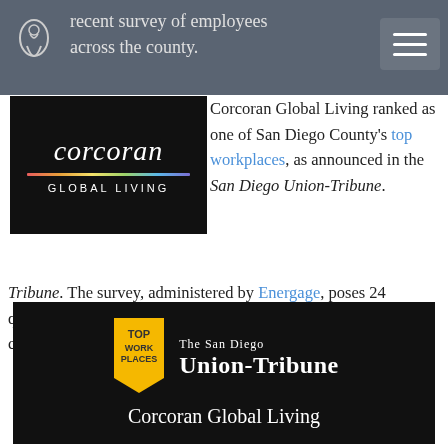recent survey of employees across the county.
[Figure (logo): Corcoran Global Living logo — black background with script 'corcoran' text, rainbow gradient bar, and 'GLOBAL LIVING' text below]
Corcoran Global Living ranked as one of San Diego County's top workplaces, as announced in the San Diego Union-Tribune. The survey, administered by Energage, poses 24 questions to employees throughout the selected geographic area, collects the returns and rates the data.
[Figure (logo): Top Workplaces award banner from The San Diego Union-Tribune featuring a gold badge and 'Corcoran Global Living' text on a black background]